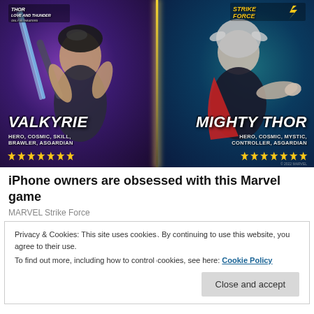[Figure (illustration): Marvel Strike Force game promotional image showing two characters: Valkyrie (left, Hero/Cosmic/Skill/Brawler/Asgardian, 7 stars) and Mighty Thor (right, Hero/Cosmic/Mystic/Controller/Asgardian, 7 stars). Thor Love and Thunder movie logo top left, Strike Force game logo top right. Yellow divider line between characters.]
iPhone owners are obsessed with this Marvel game
MARVEL Strike Force
Privacy & Cookies: This site uses cookies. By continuing to use this website, you agree to their use.
To find out more, including how to control cookies, see here: Cookie Policy
Close and accept